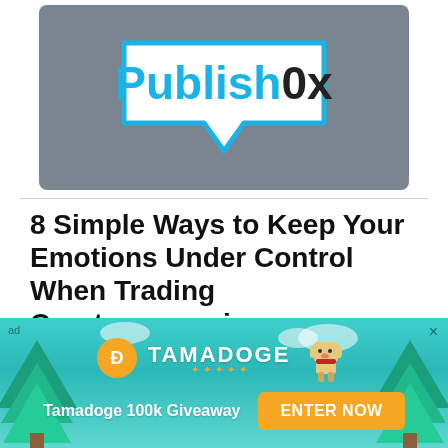[Figure (logo): Publish0x logo: white speech bubble with 'Publish0x' text on a dark gray background]
8 Simple Ways to Keep Your Emotions Under Control When Trading Cryptocurrencies
1 minute read   cryptomining   $0.03
Here are 8 simple but effective Ways to keep your emotions under control when trading cryptocurrencies
[Figure (infographic): Tamadoge 100k Giveaway advertisement banner with teal background, trees, coin logo, dog mascot, and 'ENTER NOW' button]